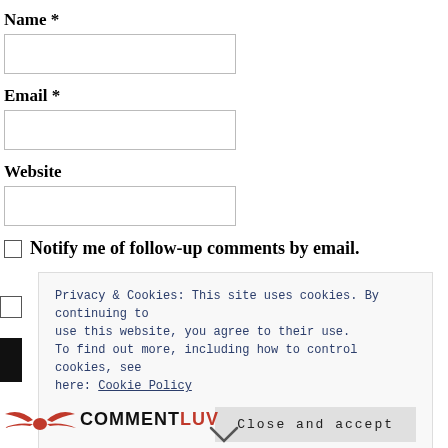Name *
Email *
Website
Notify me of follow-up comments by email.
Privacy & Cookies: This site uses cookies. By continuing to use this website, you agree to their use. To find out more, including how to control cookies, see here: Cookie Policy
Close and accept
[Figure (logo): CommentLuv logo with red wings and COMMENTLUV text in black and red]